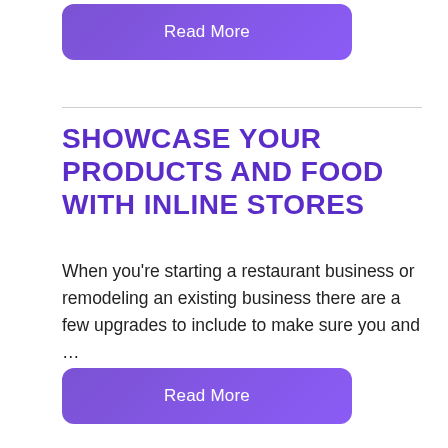[Figure (other): Purple 'Read More' button with rounded corners]
SHOWCASE YOUR PRODUCTS AND FOOD WITH INLINE STORES
When you're starting a restaurant business or remodeling an existing business there are a few upgrades to include to make sure you and …
[Figure (other): Purple 'Read More' button with rounded corners]
CREATE YOUR DREAM BUSINESS WITH MALL